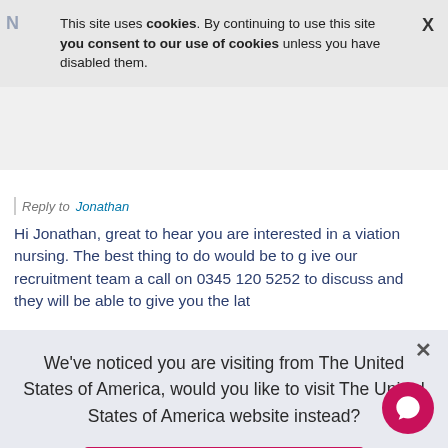This site uses cookies. By continuing to use this site you consent to our use of cookies unless you have disabled them.
Reply to Jonathan
Hi Jonathan, great to hear you are interested in aviation nursing. The best thing to do would be to give our recruitment team a call on 0345 120 5252 to discuss and they will be able to give you the lat
We've noticed you are visiting from The United States of America, would you like to visit The United States of America website instead?
Take me to the US website
Close